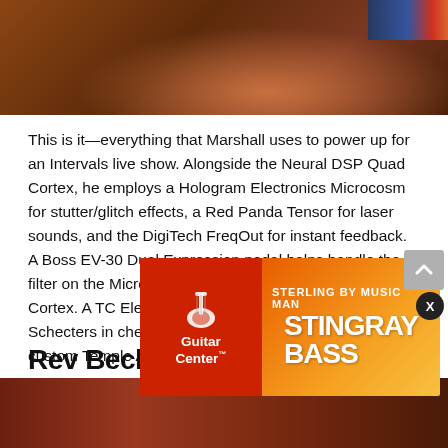[Figure (photo): Top portion of a guitar/music equipment setup photo, showing warm brown/orange tones with stage lighting effects]
This is it—everything that Marshall uses to power up for an Intervals live show. Alongside the Neural DSP Quad Cortex, he employs a Hologram Electronics Microcosm for stutter/glitch effects, a Red Panda Tensor for laser sounds, and the DigiTech FreqOut for instant feedback. A Boss EV-30 Dual Expression pedal helps handle the filter on the Microcosm and dial in dynamics for the Quad Cortex. A TC Electronic PolyTune 3 Mini keeps his Schecters in check. And everything is housed on a custom Temple Audio DUO Series Templeboard.
Rev Beck
[Figure (photo): Bottom portion showing another music-related photo with dark reddish tones]
[Figure (advertisement): Guitar Center advertisement for Sterling by Music Man Stingray Bass, red and orange gradient background]